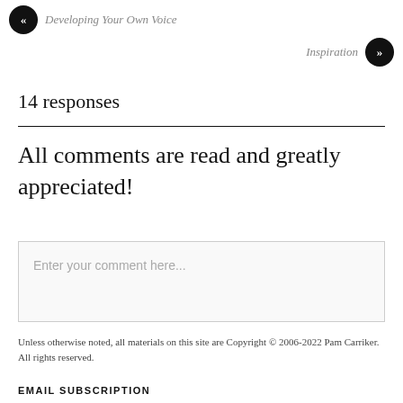« Developing Your Own Voice
Inspiration »
14 responses
All comments are read and greatly appreciated!
Enter your comment here...
Unless otherwise noted, all materials on this site are Copyright © 2006-2022 Pam Carriker. All rights reserved.
EMAIL SUBSCRIPTION